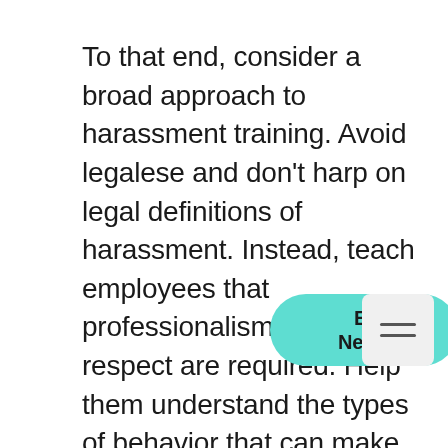To that end, consider a broad approach to harassment training. Avoid legalese and don't harp on legal definitions of harassment. Instead, teach employees that professionalism and respect are required. Help them understand the types of behavior that can make others uncomfortable, and provide coaching on how employees should respond if they inadvertently offend a coworker. Some training also addresses bystander intervention—that is, steps employees can take when they witness inappropriate conduct directed towards someone else.